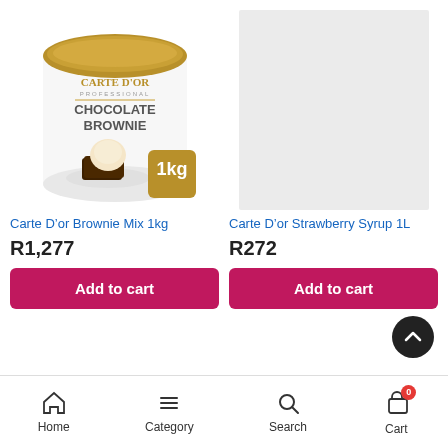[Figure (photo): Carte D'or Professional Chocolate Brownie 1kg ice cream container with a scoop of vanilla ice cream on a brownie, gold lid and 1kg badge]
Carte D’or Brownie Mix 1kg
R1,277
Add to cart
[Figure (photo): Light grey placeholder image for Carte D'or Strawberry Syrup 1L product]
Carte D’or Strawberry Syrup 1L
R272
Add to cart
Home  Category  Search  Cart